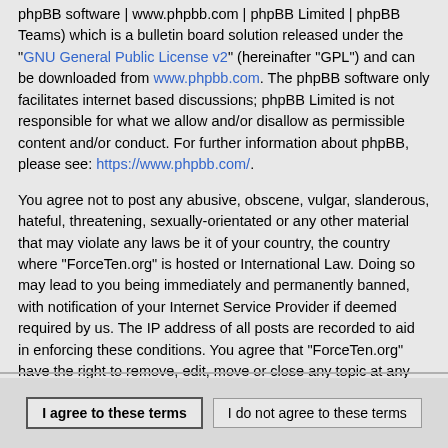phpBB software | www.phpbb.com | phpBB Limited | phpBB Teams) which is a bulletin board solution released under the "GNU General Public License v2" (hereinafter "GPL") and can be downloaded from www.phpbb.com. The phpBB software only facilitates internet based discussions; phpBB Limited is not responsible for what we allow and/or disallow as permissible content and/or conduct. For further information about phpBB, please see: https://www.phpbb.com/.
You agree not to post any abusive, obscene, vulgar, slanderous, hateful, threatening, sexually-orientated or any other material that may violate any laws be it of your country, the country where "ForceTen.org" is hosted or International Law. Doing so may lead to you being immediately and permanently banned, with notification of your Internet Service Provider if deemed required by us. The IP address of all posts are recorded to aid in enforcing these conditions. You agree that "ForceTen.org" have the right to remove, edit, move or close any topic at any time should we see fit. As a user you agree to any information you have entered to being stored in a database. While this information will not be disclosed to any third party without your consent, neither "ForceTen.org" nor phpBB shall be held responsible for any hacking attempt that may lead to the data being compromised.
I agree to these terms | I do not agree to these terms